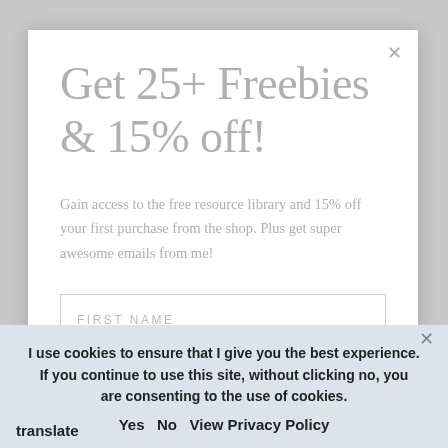Get 25+ Freebies & 15% off!
Gain access to the free resource library and 15% off your first purchase from the shop. Plus get super awesome emails from me!
FIRST NAME
EMAIL ADDRESS
back to top
I use cookies to ensure that I give you the best experience. If you continue to use this site, without clicking no, you are consenting to the use of cookies.
Yes  No  View Privacy Policy
translate